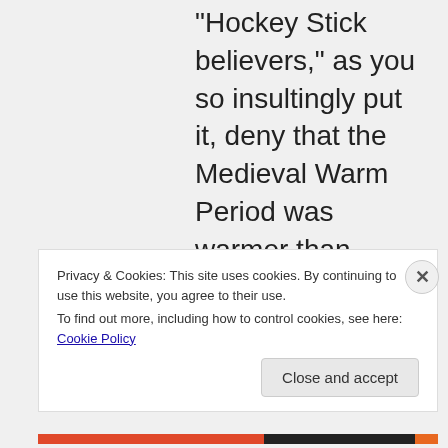“Hockey Stick believers,” as you so insultingly put it, deny that the Medieval Warm Period was warmer than today. They do.
Privacy & Cookies: This site uses cookies. By continuing to use this website, you agree to their use.
To find out more, including how to control cookies, see here: Cookie Policy